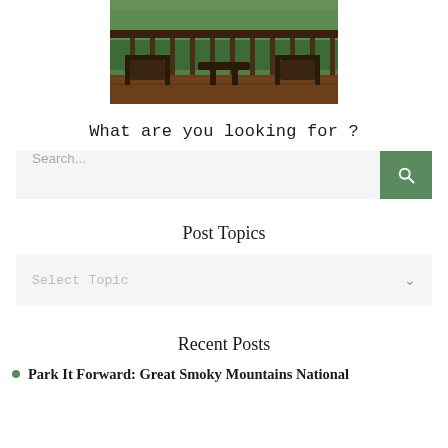[Figure (photo): A cabin deck with wooden rocking chairs overlooking a forested mountain view, seen from inside through large windows with dark railing.]
What are you looking for ?
Search...
Post Topics
Select Topic
Recent Posts
Park It Forward: Great Smoky Mountains National